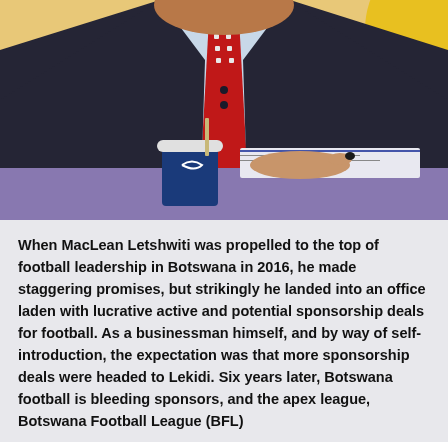[Figure (photo): A man in a dark suit jacket, light blue shirt, and red patterned tie sits at a table with a dark blue coffee cup in front of him. Documents are visible on the table. Background is yellow/beige.]
When MacLean Letshwiti was propelled to the top of football leadership in Botswana in 2016, he made staggering promises, but strikingly he landed into an office laden with lucrative active and potential sponsorship deals for football. As a businessman himself, and by way of self-introduction, the expectation was that more sponsorship deals were headed to Lekidi. Six years later, Botswana football is bleeding sponsors, and the apex league, Botswana Football League (BFL)